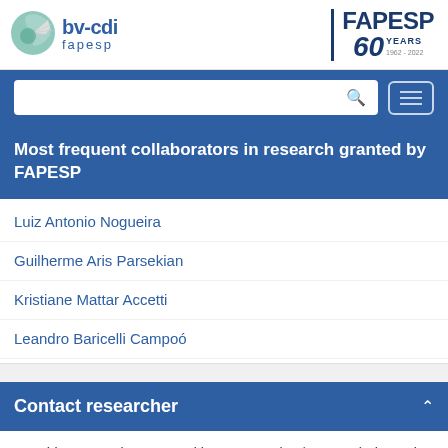[Figure (logo): bv-cdi fapesp logo with circular icon on the left, and FAPESP 60 YEARS 1962-2022 logo on the right]
[Figure (screenshot): Navigation bar with search box and hamburger menu button]
Most frequent collaborators in research granted by FAPESP
Luiz Antonio Nogueira
Guilherme Aris Parsekian
Kristiane Mattar Accetti
Leandro Baricelli Campoó
Contact researcher
Use this Research Supported by FAPESP (BV/FAPESP) channel only to send messages referring to FAPESP-funded scientific projects.